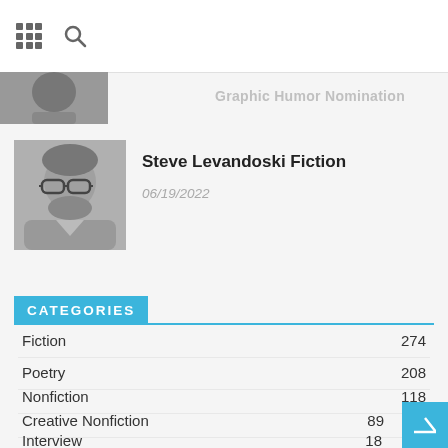[Figure (photo): Partial black and white photo at top left, partially visible]
Graphic Humor Nomination
[Figure (photo): Black and white headshot photo of Steve Levandoski, a man with glasses and beard]
Steve Levandoski Fiction
06/19/2022
CATEGORIES
Fiction 274
Poetry 208
Nonfiction 118
Creative Nonfiction 89
Artwork 62
Interview 18